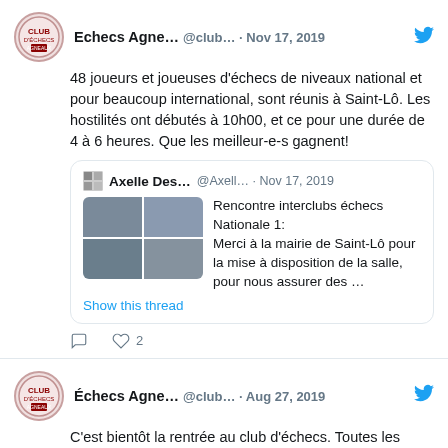Echecs Agne... @club... · Nov 17, 2019
48 joueurs et joueuses d'échecs de niveaux national et pour beaucoup international, sont réunis à Saint-Lô. Les hostilités ont débutés à 10h00, et ce pour une durée de 4 à 6 heures. Que les meilleur-e-s gagnent!
Axelle Des... @Axell... · Nov 17, 2019
Rencontre interclubs échecs Nationale 1: Merci à la mairie de Saint-Lô pour la mise à disposition de la salle, pour nous assurer des …
Show this thread
Échecs Agne... @club... · Aug 27, 2019
C'est bientôt la rentrée au club d'échecs. Toutes les infos sont en ligne : echecsaglo.fr/cest-la-rentre…